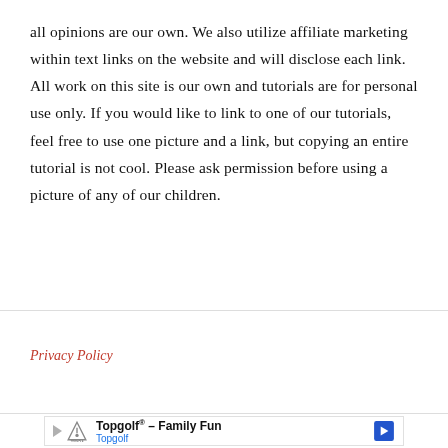all opinions are our own. We also utilize affiliate marketing within text links on the website and will disclose each link. All work on this site is our own and tutorials are for personal use only. If you would like to link to one of our tutorials, feel free to use one picture and a link, but copying an entire tutorial is not cool. Please ask permission before using a picture of any of our children.
Privacy Policy
[Figure (other): Advertisement banner for Topgolf - Family Fun with Topgolf logo, play button arrow, navigation arrow icon]